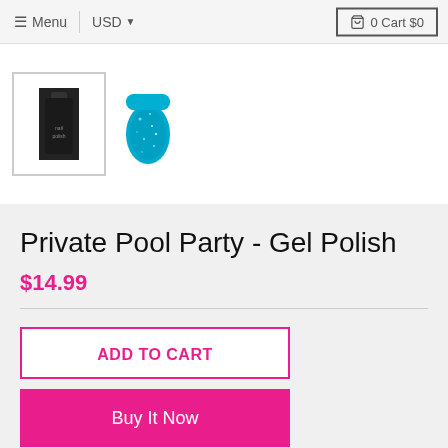Menu   USD   0 Cart $0
[Figure (photo): Two product thumbnails: a nail polish bottle on dark background in a bordered box, and a teal glitter nail swatch without border]
Private Pool Party - Gel Polish
$14.99
ADD TO CART
Buy It Now
Add to Wishlist